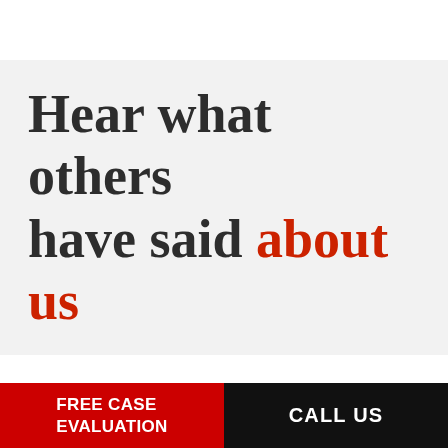Hear what others have said about us
FREE CASE EVALUATION
CALL US